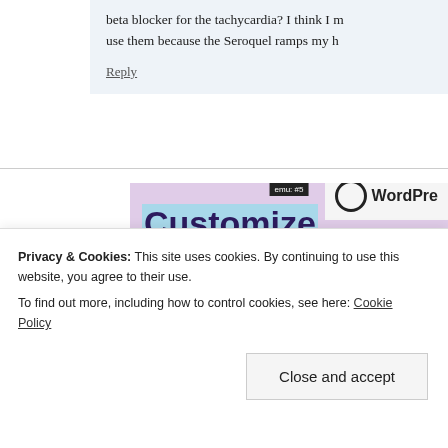beta blocker for the tachycardia? I think I m use them because the Seroquel ramps my h
Reply
[Figure (other): WordPress advertisement banner: 'Customize everything on your site with the new Site Editor.' with a 'Start Today' button and WordPress logo on a pink/lavender background.]
Privacy & Cookies: This site uses cookies. By continuing to use this website, you agree to their use.
To find out more, including how to control cookies, see here: Cookie Policy
Close and accept